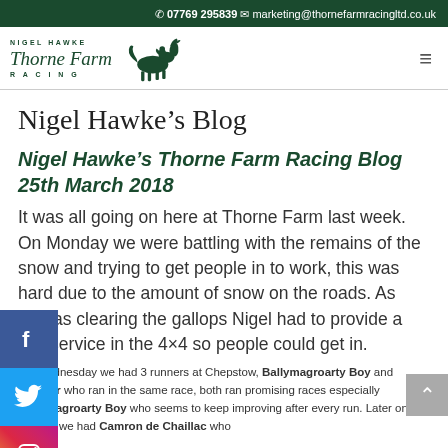07769 295839
marketing@thornefarmracingltd.co.uk
[Figure (logo): Nigel Hawke Thorne Farm Racing logo with horse silhouette]
Nigel Hawke’s Blog
Nigel Hawke’s Thorne Farm Racing Blog 25th March 2018
It was all going on here at Thorne Farm last week. On Monday we were battling with the remains of the snow and trying to get people in to work, this was hard due to the amount of snow on the roads. As well as clearing the gallops Nigel had to provide a taxi service in the 4×4 so people could get in.
On Wednesday we had 3 runners at Chepstow, Ballymagroarty Boy and Alminar who ran in the same race, both ran promising races especially Ballymagroarty Boy who seems to keep improving after every run. Later on in the day we had Camron de Chaillac who